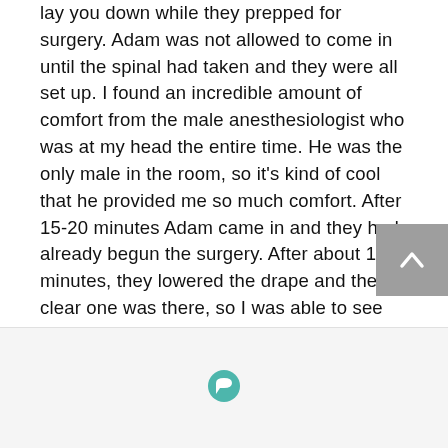lay you down while they prepped for surgery. Adam was not allowed to come in until the spinal had taken and they were all set up. I found an incredible amount of comfort from the male anesthesiologist who was at my head the entire time. He was the only male in the room, so it's kind of cool that he provided me so much comfort. After 15-20 minutes Adam came in and they had already begun the surgery. After about 10 minutes, they lowered the drape and the clear one was there, so I was able to see my Rye come into the world. I now have two best moments of life, when each of my two children were born. She was healthy and well, so they were able to delay cord
[Figure (other): Back to top button (grey square with upward chevron arrow)]
[Figure (other): Bottom bar with chat/comment bubble icon in teal/green color]